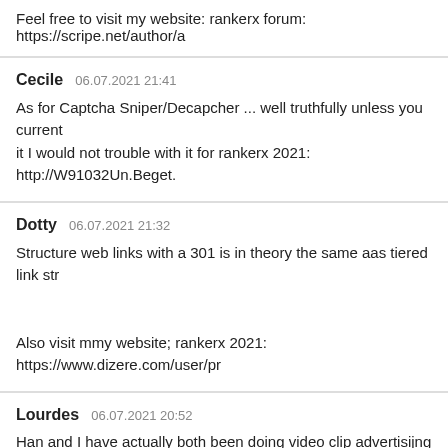Feel free to visit my website: rankerx forum: https://scripe.net/author/a
Cecile  06.07.2021 21:41
As for Captcha Sniper/Decapcher ... well truthfully unless you current it I would not trouble with it for rankerx 2021: http://W91032Un.Beget.
Dotty  06.07.2021 21:32
Structure web links with a 301 is in theory the same aas tiered link str

Also visit mmy website; rankerx 2021: https://www.dizere.com/user/pr
Lourdes  06.07.2021 20:52
Han and I have actually both been doing video clip advertisijng for nu